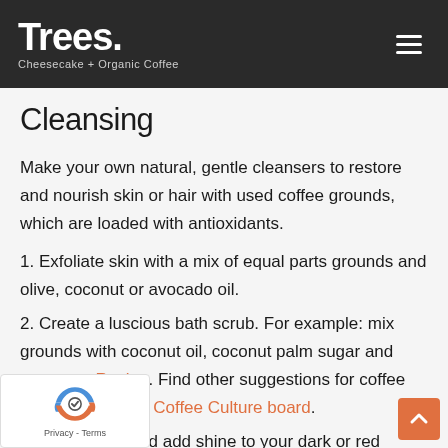Trees. Cheesecake + Organic Coffee
Cleansing
Make your own natural, gentle cleansers to restore and nourish skin or hair with used coffee grounds, which are loaded with antioxidants.
1. Exfoliate skin with a mix of equal parts grounds and olive, coconut or avocado oil.
2. Create a luscious bath scrub. For example: mix grounds with coconut oil, coconut palm sugar and lemon. Recipe. Find other suggestions for coffee in our Pinterest Coffee Culture board.
3. Rejuvenate and add shine to your dark or red hair…